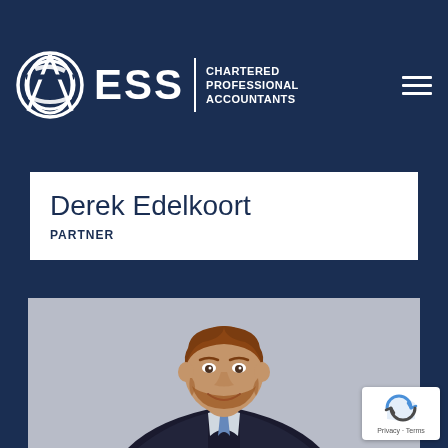[Figure (logo): ESS Chartered Professional Accountants logo with circular white icon, ESS text, vertical divider, and CPA text on navy background]
Derek Edelkoort
PARTNER
[Figure (photo): Professional headshot of Derek Edelkoort, a smiling man with short auburn hair and beard, wearing a dark suit with blue tie, against grey background]
Privacy · Terms